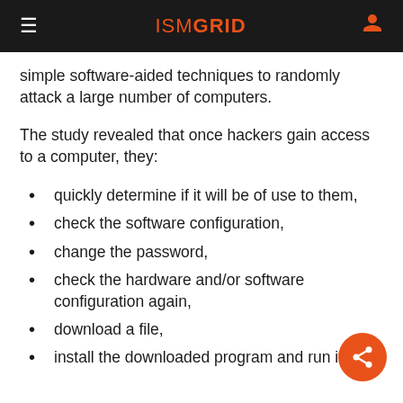ISM GRID
simple software-aided techniques to randomly attack a large number of computers.
The study revealed that once hackers gain access to a computer, they:
quickly determine if it will be of use to them,
check the software configuration,
change the password,
check the hardware and/or software configuration again,
download a file,
install the downloaded program and run it.